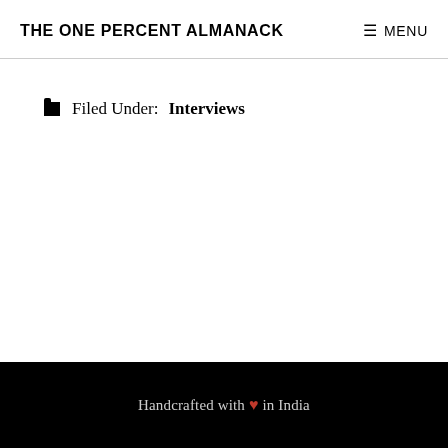THE ONE PERCENT ALMANACK
Filed Under: Interviews
Handcrafted with ♥ in India